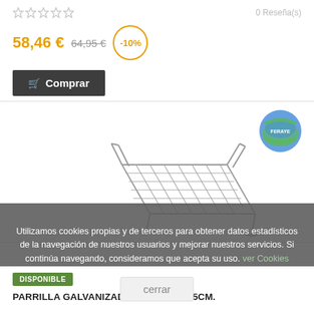0 Reseña(s)
58,46 € 64,95 € -10%
Comprar
[Figure (photo): Product image of a galvanized double grilling rack/parrilla with handle, shown at an angle on white background, with a circular logo badge in the top right corner]
Utilizamos cookies propias y de terceros para obtener datos estadísticos de la navegación de nuestros usuarios y mejorar nuestros servicios. Si continúa navegando, consideramos que acepta su uso. ver Cookies
DISPONIBLE
PARRILLA GALVANIZADA DOBLE 30X35CM.
cerrar